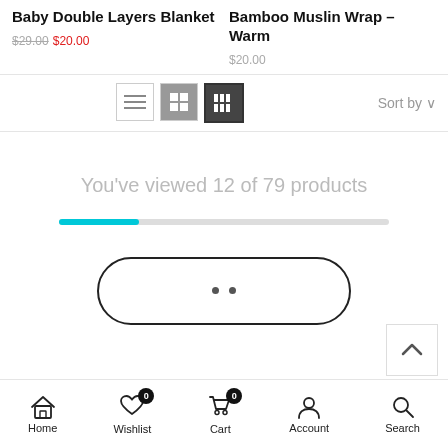Baby Double Layers Blanket
$29.00 $20.00
Bamboo Muslin Wrap – Warm
$20.00
[Figure (screenshot): Toolbar with three view layout icons (list, grid-2, grid-4) and Sort by dropdown]
You've viewed 12 of 79 products
[Figure (infographic): Progress bar showing approximately 15% loaded, cyan filled portion on left, grey remainder on right]
[Figure (screenshot): Rounded pill-shaped load more button with two dots indicating loading state]
[Figure (screenshot): Scroll to top button with upward chevron arrow, positioned bottom right]
Home   Wishlist 0   Cart 0   Account   Search